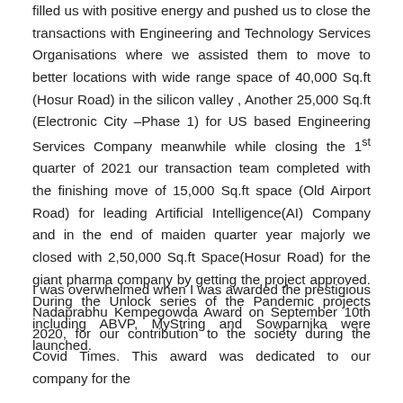filled us with positive energy and pushed us to close the transactions with Engineering and Technology Services Organisations where we assisted them to move to better locations with wide range space of 40,000 Sq.ft (Hosur Road) in the silicon valley , Another 25,000 Sq.ft (Electronic City –Phase 1) for US based Engineering Services Company meanwhile while closing the 1st quarter of 2021 our transaction team completed with the finishing move of 15,000 Sq.ft space (Old Airport Road) for leading Artificial Intelligence(AI) Company and in the end of maiden quarter year majorly we closed with 2,50,000 Sq.ft Space(Hosur Road) for the giant pharma company by getting the project approved. During the Unlock series of the Pandemic projects including ABVP, MyString and Sowparnika were launched.
I was overwhelmed when I was awarded the prestigious Nadaprabhu Kempegowda Award on September 10th 2020, for our contribution to the society during the Covid Times. This award was dedicated to our company for the